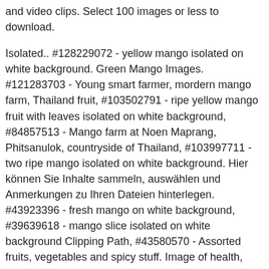and video clips. Select 100 images or less to download.
Isolated.. #128229072 - yellow mango isolated on white background. Green Mango Images. #121283703 - Young smart farmer, mordern mango farm, Thailand fruit, #103502791 - ripe yellow mango fruit with leaves isolated on white background, #84857513 - Mango farm at Noen Maprang, Phitsanulok, countryside of Thailand, #103997711 - two ripe mango isolated on white background. Hier können Sie Inhalte sammeln, auswählen und Anmerkungen zu Ihren Dateien hinterlegen. #43923396 - fresh mango on white background, #39639618 - mango slice isolated on white background Clipping Path, #43580570 - Assorted fruits, vegetables and spicy stuff. Image of health, soft, green - 24513244 #126969961 - apricot isolated on white background, #126969967 - apricot isolated on white background, #122119363 - Green Mango Fruit and green leaf. 22 15 4. #114133135 - Fresh ripe mango with green leaf isolated on white background, #111841612 - Fresh green mango fruit isolated on white. #131451429 - Green, yellow, orange and red smoothie in glass bottles isolated.. #120078910 - Kulfi, Indian ice cream garnished with pistachio and served.. #124669311 - Fresh cut fruit in a